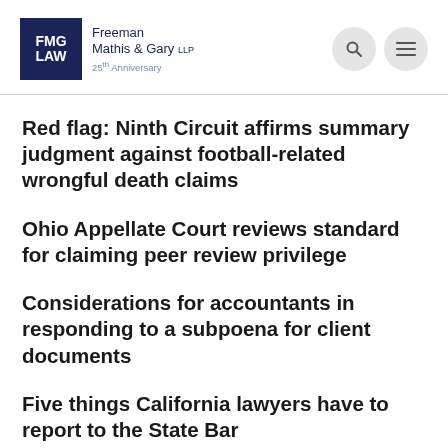[Figure (logo): FMG LAW logo - Freeman Mathis & Gary LLP, 25th Anniversary]
Red flag: Ninth Circuit affirms summary judgment against football-related wrongful death claims
Ohio Appellate Court reviews standard for claiming peer review privilege
Considerations for accountants in responding to a subpoena for client documents
Five things California lawyers have to report to the State Bar